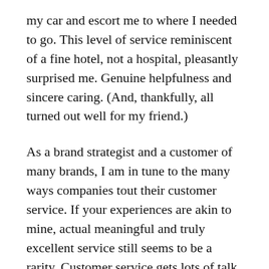my car and escort me to where I needed to go. This level of service reminiscent of a fine hotel, not a hospital, pleasantly surprised me. Genuine helpfulness and sincere caring. (And, thankfully, all turned out well for my friend.)
As a brand strategist and a customer of many brands, I am in tune to the many ways companies tout their customer service. If your experiences are akin to mine, actual meaningful and truly excellent service still seems to be a rarity. Customer service gets lots of talk time (the one true brand differentiator!) these days, but is it time to double check and see if your brand is paying more than lip service to this important customer-centric activity?